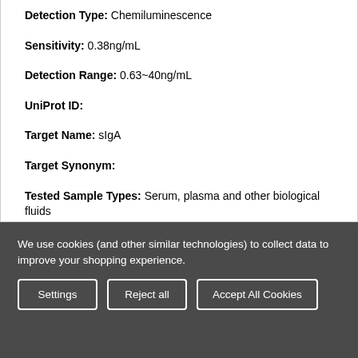Detection Type: Chemiluminescence
Sensitivity: 0.38ng/mL
Detection Range: 0.63~40ng/mL
UniProt ID:
Target Name: sIgA
Target Synonym:
Tested Sample Types: Serum, plasma and other biological fluids
We use cookies (and other similar technologies) to collect data to improve your shopping experience.